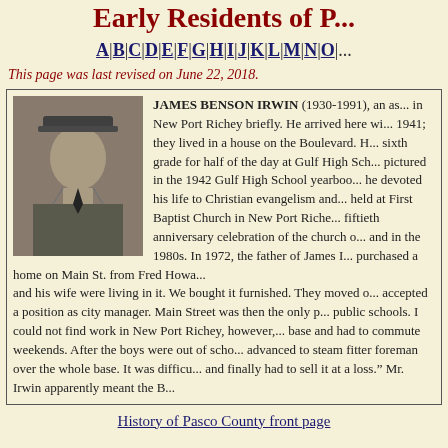Early Residents of P...
A | B | C | D | E | F | G | H | I | J | K | L | M | N | O | ...
This page was last revised on June 22, 2018.
[Figure (photo): Black and white portrait photograph of James Benson Irwin in military uniform with hat]
JAMES BENSON IRWIN (1930-1991), an as... in New Port Richey briefly. He arrived here wi... 1941; they lived in a house on the Boulevard. H... sixth grade for half of the day at Gulf High Sch... pictured in the 1942 Gulf High School yearboo... he devoted his life to Christian evangelism and... held at First Baptist Church in New Port Riche... fiftieth anniversary celebration of the church o... and in the 1980s. In 1972, the father of James I... purchased a home on Main St. from Fred Howa... and his wife were living in it. We bought it furnished. They moved o... accepted a position as city manager. Main Street was then the only p... public schools. I could not find work in New Port Richey, however,... base and had to commute weekends. After the boys were out of scho... advanced to steam fitter foreman over the whole base. It was difficu... and finally had to sell it at a loss." Mr. Irwin apparently meant the B...
History of Pasco County front page